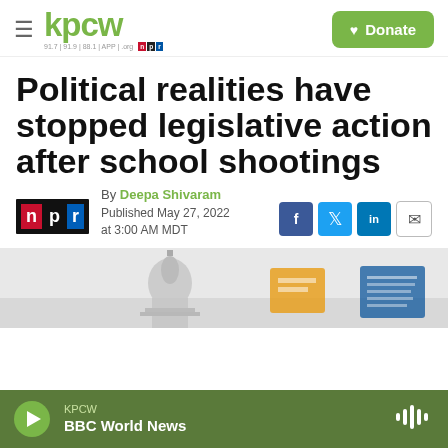KPCW — kpcw.org 91.7 | 91.9 | 88.1 | APP | .org
Political realities have stopped legislative action after school shootings
By Deepa Shivaram
Published May 27, 2022 at 3:00 AM MDT
[Figure (photo): Partial image of US Capitol building and what appears to be protest signs, article lead image]
KPCW — BBC World News (player bar)